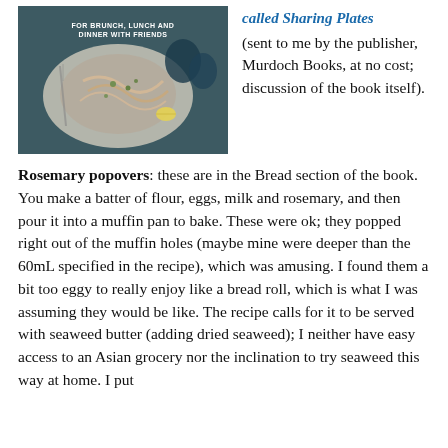[Figure (photo): Book cover showing a pasta dish on a plate with food styling, text reads FOR BRUNCH, LUNCH AND DINNER WITH FRIENDS]
(sent to me by the publisher, Murdoch Books, at no cost; discussion of the book itself).
Rosemary popovers: these are in the Bread section of the book. You make a batter of flour, eggs, milk and rosemary, and then pour it into a muffin pan to bake. These were ok; they popped right out of the muffin holes (maybe mine were deeper than the 60mL specified in the recipe), which was amusing. I found them a bit too eggy to really enjoy like a bread roll, which is what I was assuming they would be like. The recipe calls for it to be served with seaweed butter (adding dried seaweed); I neither have easy access to an Asian grocery nor the inclination to try seaweed this way at home. I put